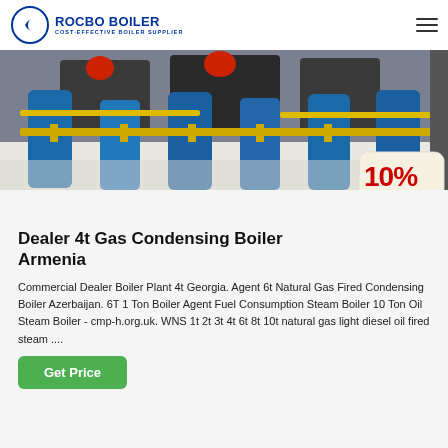ROCBO BOILER — COST-EFFECTIVE BOILER SUPPLIER
[Figure (photo): Industrial boiler room with rows of large blue cylindrical boilers and yellow piping on a white floor]
Dealer 4t Gas Condensing Boiler Armenia
Commercial Dealer Boiler Plant 4t Georgia. Agent 6t Natural Gas Fired Condensing Boiler Azerbaijan. 6T 1 Ton Boiler Agent Fuel Consumption Steam Boiler 10 Ton Oil Steam Boiler - cmp-h.org.uk. WNS 1t 2t 3t 4t 6t 8t 10t natural gas light diesel oil fired steam ....
Get Price